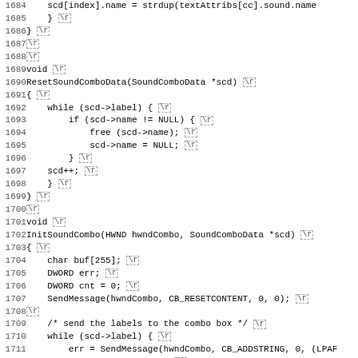[Figure (screenshot): Source code listing in C, lines 1684-1715, showing ResetSoundComboData and InitSoundCombo functions with carriage return markers displayed as dashed boxes containing \r]